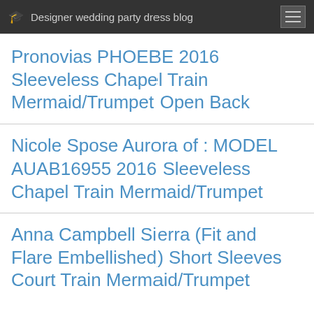Designer wedding party dress blog
Pronovias PHOEBE 2016 Sleeveless Chapel Train Mermaid/Trumpet Open Back
Nicole Spose Aurora of : MODEL AUAB16955 2016 Sleeveless Chapel Train Mermaid/Trumpet
Anna Campbell Sierra (Fit and Flare Embellished) Short Sleeves Court Train Mermaid/Trumpet